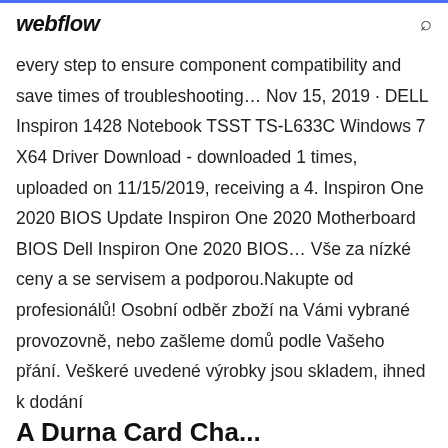webflow
every step to ensure component compatibility and save times of troubleshooting… Nov 15, 2019 · DELL Inspiron 1428 Notebook TSST TS-L633C Windows 7 X64 Driver Download - downloaded 1 times, uploaded on 11/15/2019, receiving a 4. Inspiron One 2020 BIOS Update Inspiron One 2020 Motherboard BIOS Dell Inspiron One 2020 BIOS… Vše za nízké ceny a se servisem a podporou.Nakupte od profesionálů! Osobní odběr zboží na Vámi vybrané provozovně, nebo zašleme domů podle Vašeho přání. Veškeré uvedené výrobky jsou skladem, ihned k dodání
A Durna Card Cha...